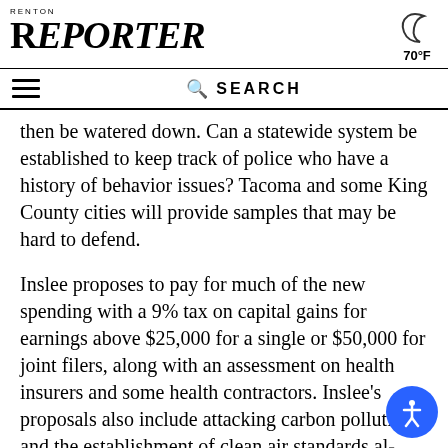RENTON REPORTER
then be watered down. Can a statewide system be established to keep track of police who have a history of behavior issues? Tacoma and some King County cities will provide samples that may be hard to defend.
Inslee proposes to pay for much of the new spending with a 9% tax on capital gains for earnings above $25,000 for a single or $50,000 for joint filers, along with an assessment on health insurers and some health contractors. Inslee’s proposals also include attacking carbon pollution and the establishment of clean air standards along with a cap on greenhouse gas emissions as a way to force political attention on climate change.